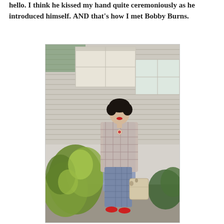hello. I think he kissed my hand quite ceremoniously as he introduced himself. AND that's how I met Bobby Burns.
[Figure (photo): A woman with short dark hair wearing a plaid dress and plaid blazer, holding a floral handbag, standing outside next to a house with horizontal siding and green leafy plants.]